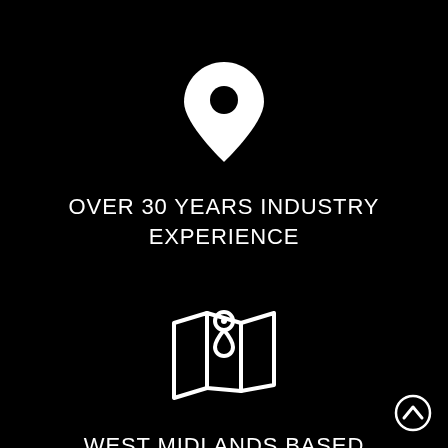[Figure (illustration): White map pin / location marker icon on black background]
OVER 30 YEARS INDUSTRY EXPERIENCE
[Figure (illustration): White map with location pin icon on black background]
WEST MIDLANDS BASED SERVICING NATIONALLY
[Figure (illustration): White chevron up arrow icon at bottom right corner]